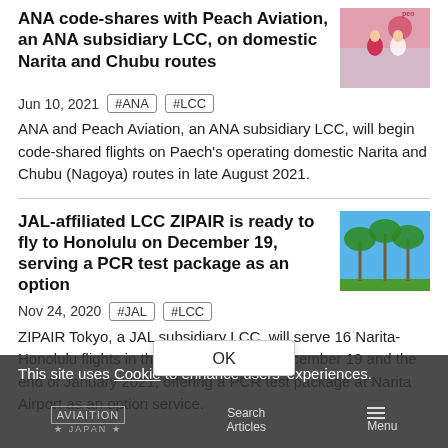ANA code-shares with Peach Aviation, an ANA subsidiary LCC, on domestic Narita and Chubu routes
Jun 10, 2021  #ANA  #LCC
ANA and Peach Aviation, an ANA subsidiary LCC, will begin code-shared flights on Paech's operating domestic Narita and Chubu (Nagoya) routes in late August 2021.
JAL-affiliated LCC ZIPAIR is ready to fly to Honolulu on December 19, serving a PCR test package as an option
Nov 24, 2020  #JAL  #LCC
ZIPAIR Tokyo, a JAL subsidiary LCC, will serve 16 Narita-Honolulu flights in the period between December 19 and the end of January 2021, offering a PCR test package at Narita Airport as an option service.
This site uses Cookie to enhance users' experiences.